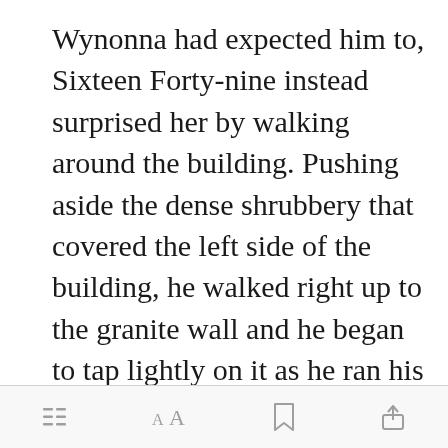Wynonna had expected him to, Sixteen Forty-nine instead surprised her by walking around the building. Pushing aside the dense shrubbery that covered the left side of the building, he walked right up to the granite wall and he began to tap lightly on it as he ran his hands alongside the wall. After a few minutes, he finally found what he was looking fo[Open in app]gged on a
[menu icon] [text size icon] [bookmark icon] [share icon]